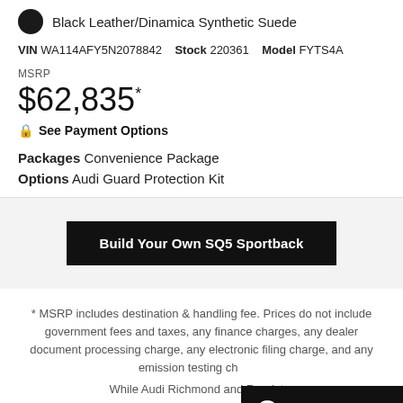Black Leather/Dinamica Synthetic Suede
VIN WA114AFY5N2078842  Stock 220361  Model FYTS4A
MSRP
$62,835*
See Payment Options
Packages Convenience Package
Options Audi Guard Protection Kit
Build Your Own SQ5 Sportback
* MSRP includes destination & handling fee. Prices do not include government fees and taxes, any finance charges, any dealer document processing charge, any electronic filing charge, and any emission testing ch...
While Audi Richmond and Roadster...
Need Help?